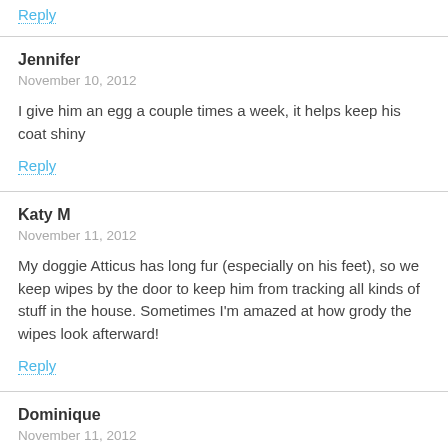Reply
Jennifer
November 10, 2012
I give him an egg a couple times a week, it helps keep his coat shiny
Reply
Katy M
November 11, 2012
My doggie Atticus has long fur (especially on his feet), so we keep wipes by the door to keep him from tracking all kinds of stuff in the house. Sometimes I'm amazed at how grody the wipes look afterward!
Reply
Dominique
November 11, 2012